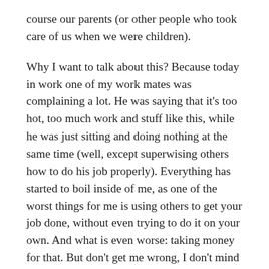course our parents (or other people who took care of us when we were children).
Why I want to talk about this? Because today in work one of my work mates was complaining a lot. He was saying that it's too hot, too much work and stuff like this, while he was just sitting and doing nothing at the same time (well, except superwising others how to do his job properly). Everything has started to boil inside of me, as one of the worst things for me is using others to get your job done, without even trying to do it on your own. And what is even worse: taking money for that. But don't get me wrong, I don't mind if someone asks for help, but help, according to my knowledge, means you are doing and someone is giving you hand, because you can't manage or just to get work done quicker. Deffinitely